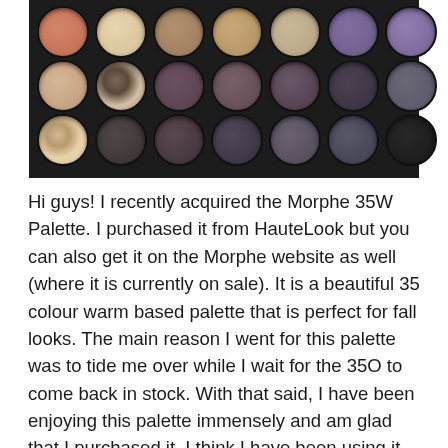[Figure (photo): Photo of a Morphe 35W eyeshadow palette showing 21 shadow pans in 3 rows arranged in a dark black tray. Colors include warm neutrals, purples, taupes, and dark shades.]
Hi guys! I recently acquired the Morphe 35W Palette. I purchased it from HauteLook but you can also get it on the Morphe website as well (where it is currently on sale). It is a beautiful 35 colour warm based palette that is perfect for fall looks. The main reason I went for this palette was to tide me over while I wait for the 35O to come back in stock. With that said, I have been enjoying this palette immensely and am glad that I purchased it. I think I have been using it almost every day since I got it since it is so versatile.